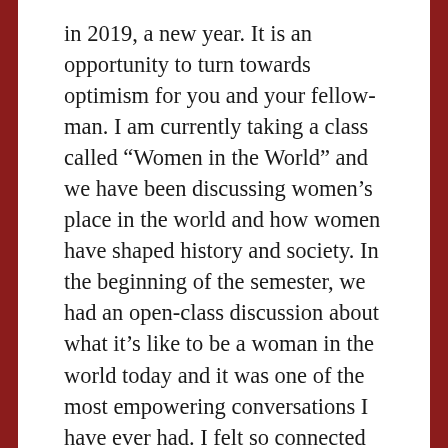in 2019, a new year. It is an opportunity to turn towards optimism for you and your fellow-man. I am currently taking a class called “Women in the World” and we have been discussing women’s place in the world and how women have shaped history and society. In the beginning of the semester, we had an open-class discussion about what it’s like to be a woman in the world today and it was one of the most empowering conversations I have ever had. I felt so connected to everyone in the class, even the people I don’t even know. It makes me feel so strong and confident knowing that there are other strong, smart, and determined women in my life who value being a woman and want to continue to fight for equality amongst all humand despite gender, race, sexuality, social status, etc. This class has also reminded me that I